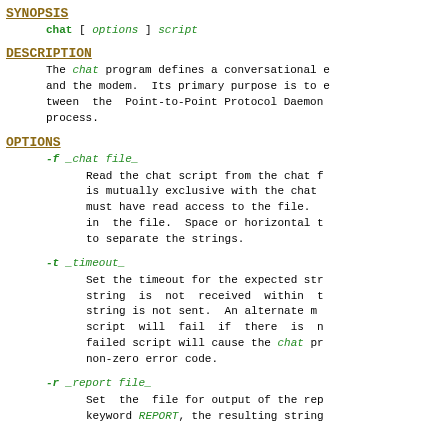SYNOPSIS
chat [ options ] script
DESCRIPTION
The chat program defines a conversational exchange and the modem. Its primary purpose is to establish a connection between the Point-to-Point Protocol Daemon process.
OPTIONS
-f _chat file_
Read the chat script from the chat file. is mutually exclusive with the chat must have read access to the file. in the file. Space or horizontal t to separate the strings.
-t _timeout_
Set the timeout for the expected str string is not received within t string is not sent. An alternate m script will fail if there is n failed script will cause the chat pr non-zero error code.
-r _report file_
Set the file for output of the rep keyword REPORT, the resulting string